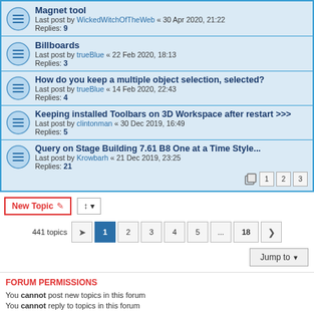Magnet tool — Last post by WickedWitchOfTheWeb « 30 Apr 2020, 21:22 — Replies: 9
Billboards — Last post by trueBlue « 22 Feb 2020, 18:13 — Replies: 3
How do you keep a multiple object selection, selected? — Last post by trueBlue « 14 Feb 2020, 22:43 — Replies: 4
Keeping installed Toolbars on 3D Workspace after restart >>> — Last post by clintonman « 30 Dec 2019, 16:49 — Replies: 5
Query on Stage Building 7.61 B8 One at a Time Style... — Last post by Krowbarh « 21 Dec 2019, 23:25 — Replies: 21 — pages 1 2 3
441 topics  1 2 3 4 5 ... 18
Jump to
FORUM PERMISSIONS
You cannot post new topics in this forum
You cannot reply to topics in this forum